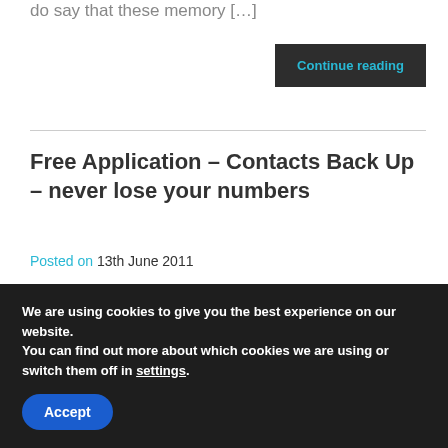do say that these memory […]
Continue reading
Free Application – Contacts Back Up – never lose your numbers
Posted on 13th June 2011
I love Orange, and my favourites, Orange
We are using cookies to give you the best experience on our website.
You can find out more about which cookies we are using or switch them off in settings.
Accept